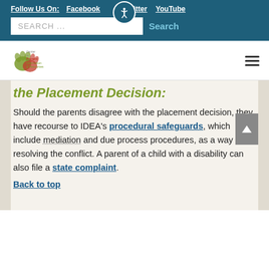Follow Us On: Facebook Twitter YouTube
[Figure (logo): Center for Parent Information and Resources logo with hands graphic]
the Placement Decision:
Should the parents disagree with the placement decision, they have recourse to IDEA's procedural safeguards, which include mediation and due process procedures, as a way of resolving the conflict. A parent of a child with a disability can also file a state complaint.
Back to top